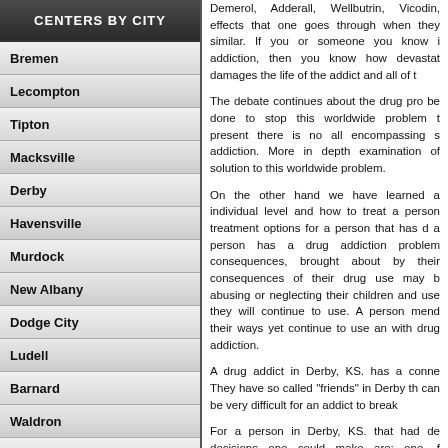CENTERS BY CITY
Bremen
Lecompton
Tipton
Macksville
Derby
Havensville
Murdock
New Albany
Dodge City
Ludell
Barnard
Waldron
Geneseo
Abilene
Summerfield
Dearing
Syracuse
Demerol, Adderall, Wellbutrin, Vicodin, effects that one goes through when they similar. If you or someone you know i addiction, then you know how devastat damages the life of the addict and all of t
The debate continues about the drug pro be done to stop this worldwide problem t present there is no all encompassing s addiction. More in depth examination of solution to this worldwide problem.
On the other hand we have learned a individual level and how to treat a person treatment options for a person that has d a person has a drug addiction problem consequences, brought about by their consequences of their drug use may b abusing or neglecting their children and use they will continue to use. A person mend their ways yet continue to use an with drug addiction.
A drug addict in Derby, KS. has a conne They have so called "friends" in Derby th can be very difficult for an addict to break
For a person in Derby, KS. that had de decisions one could make are: one, f considerable distance from Derby. Add however long it takes to remedy the cond as a drug free person. Professionals stu how to address it, all agree on one thing